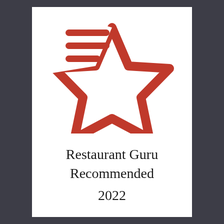[Figure (logo): Restaurant Guru logo: a red outlined star shape with three horizontal red lines in the upper-left area of the star (representing a menu/list), on a white background]
Restaurant Guru Recommended 2022